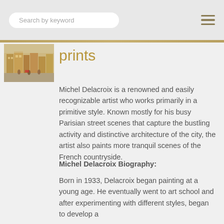Search by keyword
[Figure (photo): Small thumbnail image of a Parisian street scene painting]
prints
Michel Delacroix is a renowned and easily recognizable artist who works primarily in a primitive style. Known mostly for his busy Parisian street scenes that capture the bustling activity and distinctive architecture of the city, the artist also paints more tranquil scenes of the French countryside.
Michel Delacroix Biography:
Born in 1933, Delacroix began painting at a young age. He eventually went to art school and after experimenting with different styles, began to develop a